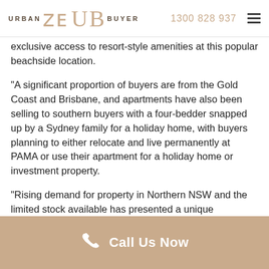URBAN BUYER  1300 828 937
exclusive access to resort-style amenities at this popular beachside location.
“A significant proportion of buyers are from the Gold Coast and Brisbane, and apartments have also been selling to southern buyers with a four-bedder snapped up by a Sydney family for a holiday home, with buyers planning to either relocate and live permanently at PAMA or use their apartment for a holiday home or investment property.
“Rising demand for property in Northern NSW and the limited stock available has presented a unique investment opportunity to the market and buyers have acted quickly to avoid missing out.”
Call Us Now